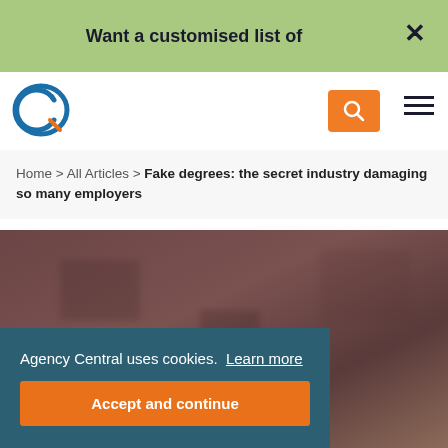Want a customised list of
[Figure (logo): Agency Central logo - circular C shape in blue]
Home > All Articles > Fake degrees: the secret industry damaging so many employers
[Figure (photo): Blurred brownish-purple background hero image]
Agency Central uses cookies. Learn more
Accept and continue